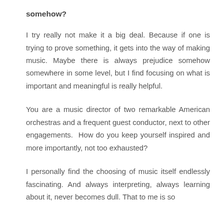somehow?
I try really not make it a big deal. Because if one is trying to prove something, it gets into the way of making music. Maybe there is always prejudice somehow somewhere in some level, but I find focusing on what is important and meaningful is really helpful.
You are a music director of two remarkable American orchestras and a frequent guest conductor, next to other engagements. How do you keep yourself inspired and more importantly, not too exhausted?
I personally find the choosing of music itself endlessly fascinating. And always interpreting, always learning about it, never becomes dull. That to me is so